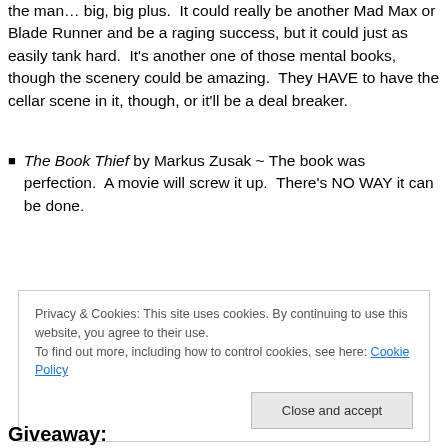the man… big, big plus. It could really be another Mad Max or Blade Runner and be a raging success, but it could just as easily tank hard. It's another one of those mental books, though the scenery could be amazing. They HAVE to have the cellar scene in it, though, or it'll be a deal breaker.
The Book Thief by Markus Zusak ~ The book was perfection. A movie will screw it up. There's NO WAY it can be done.
Privacy & Cookies: This site uses cookies. By continuing to use this website, you agree to their use. To find out more, including how to control cookies, see here: Cookie Policy
Giveaway: